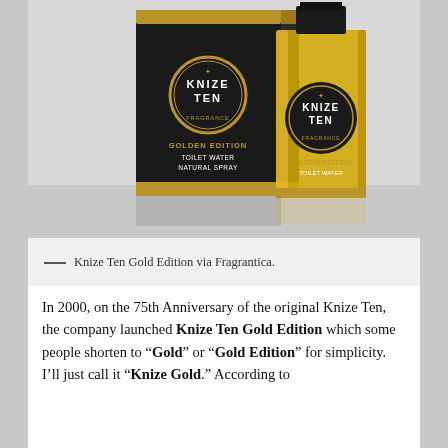[Figure (photo): Knize Ten Gold Edition perfume bottle (amber/yellow liquid in clear glass rectangular bottle with black circular label reading KNIZE TEN and TOILET WATER) next to its black and gold packaging box (reading KNIZE TEN GOLDEN EDITION TOILET WATER NATURAL SPRAY)]
— Knize Ten Gold Edition via Fragrantica.
In 2000, on the 75th Anniversary of the original Knize Ten, the company launched Knize Ten Gold Edition which some people shorten to "Gold" or "Gold Edition" for simplicity. I'll just call it "Knize Gold." According to